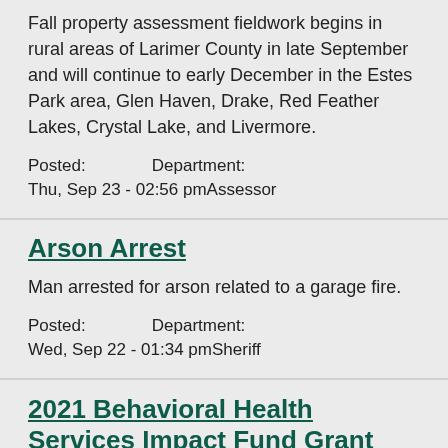Fall property assessment fieldwork begins in rural areas of Larimer County in late September and will continue to early December in the Estes Park area, Glen Haven, Drake, Red Feather Lakes, Crystal Lake, and Livermore.
Posted: Thu, Sep 23 - 02:56 pm   Department: Assessor
Arson Arrest
Man arrested for arson related to a garage fire.
Posted: Wed, Sep 22 - 01:34 pm   Department: Sheriff
2021 Behavioral Health Services Impact Fund Grant